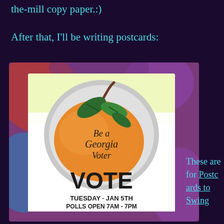the-mill copy paper.:)
After that, I'll be writing postcards:
[Figure (photo): A postcard image showing a Georgia peach button with text 'Be a Georgia Voter' and bold text 'VOTE' with 'TUESDAY · JAN 5TH' and 'POLLS OPEN 7AM - 7PM' at the bottom, set against a colorful tie-dye style background.]
These are for Postcards to Swing